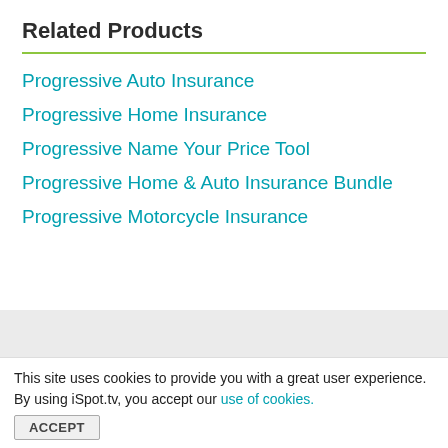Related Products
Progressive Auto Insurance
Progressive Home Insurance
Progressive Name Your Price Tool
Progressive Home & Auto Insurance Bundle
Progressive Motorcycle Insurance
Contact Sales
Choose A Better Way To Measure TV ROAS
This site uses cookies to provide you with a great user experience. By using iSpot.tv, you accept our use of cookies.
ACCEPT